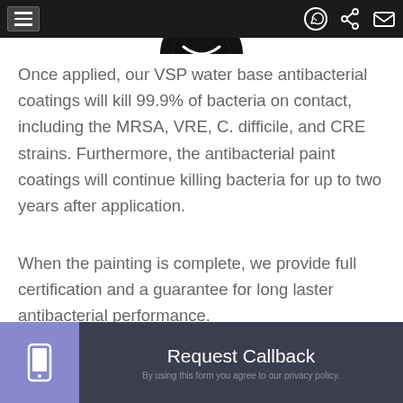[Navigation bar with menu icon and icons for WhatsApp, share, and email]
[Figure (logo): Partial circular dark logo visible at top center]
Once applied, our VSP water base antibacterial coatings will kill 99.9% of bacteria on contact, including the MRSA, VRE, C. difficile, and CRE strains. Furthermore, the antibacterial paint coatings will continue killing bacteria for up to two years after application.
When the painting is complete, we provide full certification and a guarantee for long laster antibacterial performance.
Our antibacterial spray painting services are ideal
Request Callback